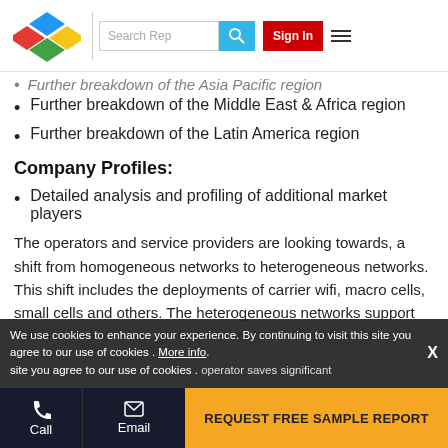Search Rep | Sign In
Further breakdown of the Asia Pacific region (partially visible)
Further breakdown of the Middle East & Africa region
Further breakdown of the Latin America region
Company Profiles:
Detailed analysis and profiling of additional market players
The operators and service providers are looking towards, a shift from homogeneous networks to heterogeneous networks. This shift includes the deployments of carrier wifi, macro cells, small cells and others. The heterogeneous networks support the service providers and operators to manage the extra demand of mobile data and operator saves significant
We use cookies to enhance your experience. By continuing to visit this site you agree to our use of cookies . More info.
Call | Email | REQUEST FREE SAMPLE REPORT